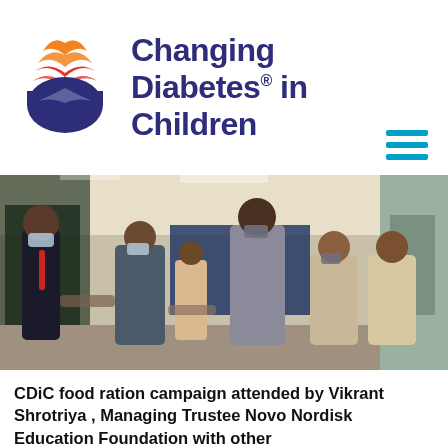[Figure (logo): Changing Diabetes in Children logo — circular icon with orange/red/blue layered design resembling an open book or sunrise, next to the text 'Changing Diabetes® in Children' in dark navy bold font]
[Figure (photo): Indoor group photo showing several people wearing face masks in what appears to be a medical or office setting. Banners with 'I.D' and '2007' visible on the left. People are applauding and interacting, dressed in formal/semi-formal attire.]
CDiC food ration campaign attended by Vikrant Shrotriya , Managing Trustee Novo Nordisk Education Foundation with other